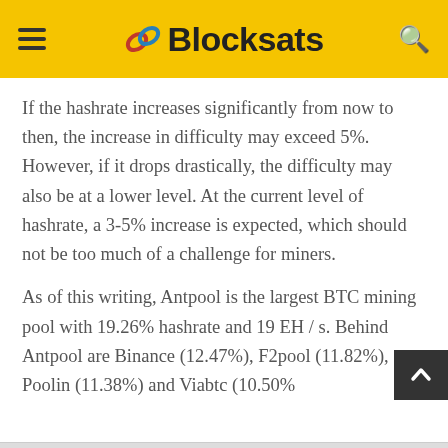Blocksats
If the hashrate increases significantly from now to then, the increase in difficulty may exceed 5%. However, if it drops drastically, the difficulty may also be at a lower level. At the current level of hashrate, a 3-5% increase is expected, which should not be too much of a challenge for miners.
As of this writing, Antpool is the largest BTC mining pool with 19.26% hashrate and 19 EH / s. Behind Antpool are Binance (12.47%), F2pool (11.82%), Poolin (11.38%) and Viabtc (10.50%)